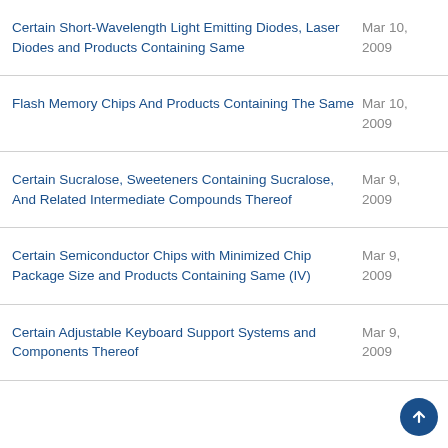Certain Short-Wavelength Light Emitting Diodes, Laser Diodes and Products Containing Same | Mar 10, 2009
Flash Memory Chips And Products Containing The Same | Mar 10, 2009
Certain Sucralose, Sweeteners Containing Sucralose, And Related Intermediate Compounds Thereof | Mar 9, 2009
Certain Semiconductor Chips with Minimized Chip Package Size and Products Containing Same (IV) | Mar 9, 2009
Certain Adjustable Keyboard Support Systems and Components Thereof | Mar 9, 2009